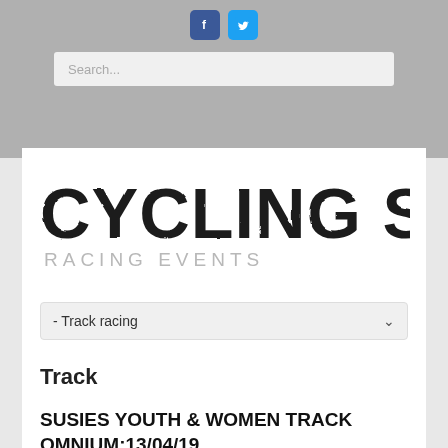[Figure (screenshot): Top navigation bar with Facebook and Twitter social media icons and a search box on a gray background]
[Figure (logo): Cycling South Racing Events logo with large distressed/textured black text 'CYCLING SOUTH' and subtitle 'RACING EVENTS' in light gray]
- Track racing
Track
SUSIES YOUTH & WOMEN TRACK OMNIUM:13/04/19
15 Apr 2019